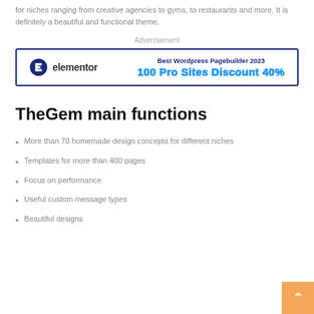for niches ranging from creative agencies to gyms, to restaurants and more. It is definitely a beautiful and functional theme.
Advertisement
[Figure (other): Elementor advertisement banner with logo on left and text 'Best Wordpress Pagebuilder 2023 / 100 Pro Sites Discount 40%' on right, inside a dark blue border.]
TheGem main functions
More than 70 homemade design concepts for different niches
Templates for more than 400 pages
Focus on performance
Useful custom message types
Beautiful designs